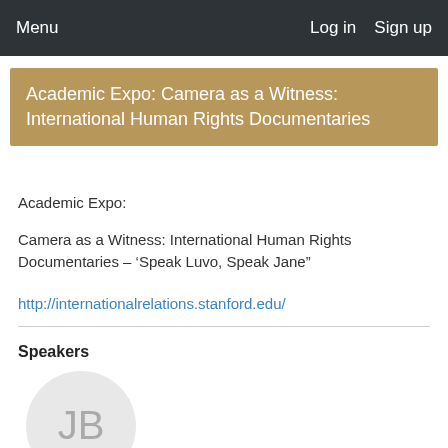Menu   Log in   Sign up
Academic Expo: Camera as a Witness: International Human Rights Documentaries
Academic Expo:
Camera as a Witness: International Human Rights Documentaries – ‘Speak Luvo, Speak Jane”
http://internationalrelations.stanford.edu/
Speakers
[Figure (illustration): Avatar circle with initials JB in gray]